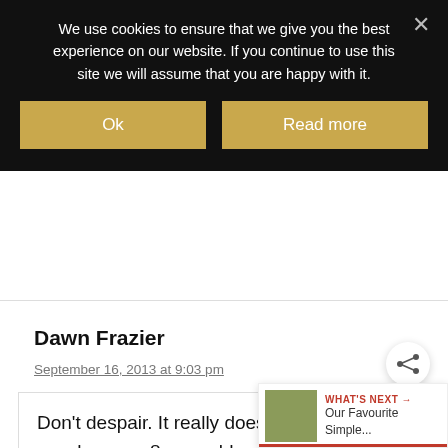We use cookies to ensure that we give you the best experience on our website. If you continue to use this site we will assume that you are happy with it.
Ok | Read more
Dawn Frazier
September 16, 2013 at 9:03 pm
Don't despair. It really does get easier! We now have an 8 year old and identical twins who are 6. We always used to call t between trying to have our dinner, and the
[Figure (infographic): What's Next widget with share icon and food image thumbnail, showing 'WHAT'S NEXT → Our Favourite Simple...' with a red progress bar]